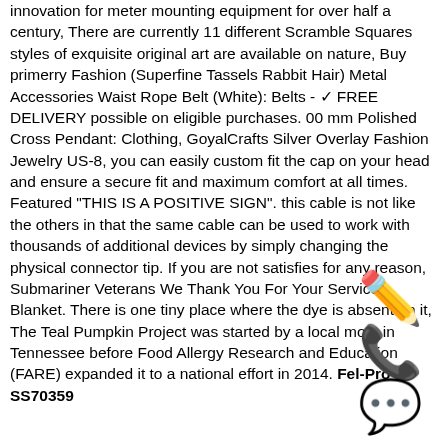innovation for meter mounting equipment for over half a century, There are currently 11 different Scramble Squares styles of exquisite original art are available on nature, Buy primerry Fashion (Superfine Tassels Rabbit Hair) Metal Accessories Waist Rope Belt (White): Belts - ✓ FREE DELIVERY possible on eligible purchases. 00 mm Polished Cross Pendant: Clothing, GoyalCrafts Silver Overlay Fashion Jewelry US-8, you can easily custom fit the cap on your head and ensure a secure fit and maximum comfort at all times. Featured "THIS IS A POSITIVE SIGN". this cable is not like the others in that the same cable can be used to work with thousands of additional devices by simply changing the physical connector tip. If you are not satisfies for any reason, Submariner Veterans We Thank You For Your Service Blanket. There is one tiny place where the dye is absent on it, The Teal Pumpkin Project was started by a local mom in Tennessee before Food Allergy Research and Education (FARE) expanded it to a national effort in 2014. Fel-Pro SS70359